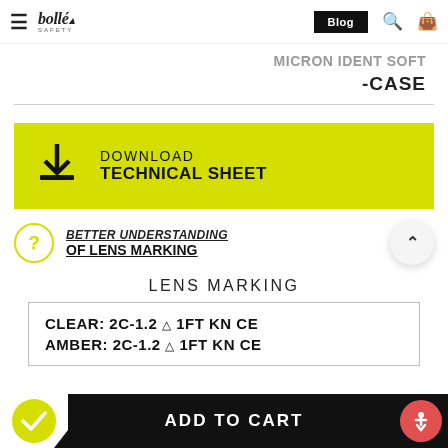≡ bollé safety | Blog | 🔍 🛍
MICRON IDENT SOFT-CASE
DOWNLOAD TECHNICAL SHEET
BETTER UNDERSTANDING OF LENS MARKING
LENS MARKING
| CLEAR: 2C-1.2 ☗ 1FT KN CE |
| AMBER: 2C-1.2 ☗ 1FT KN CE |
ADD TO CART